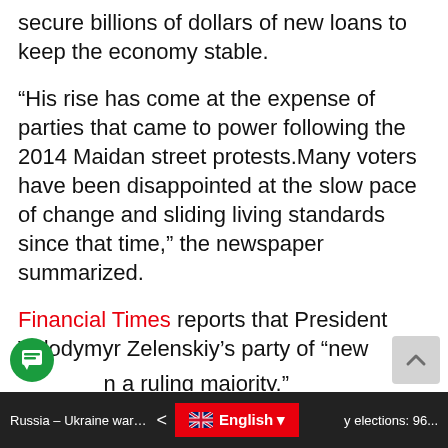secure billions of dollars of new loans to keep the economy stable.
“His rise has come at the expense of parties that came to power following the 2014 Maidan street protests.Many voters have been disappointed at the slow pace of change and sliding living standards since that time,” the newspaper summarized.
Financial Times reports that President Volodymyr Zelenskiy’s party of “new politicians” has apparently “ultimately won the election, becoming the first political force in the country since 1991, which can independently form a ruling majority.”
Russia – Ukraine war updates: dail... | English | y elections: 96...